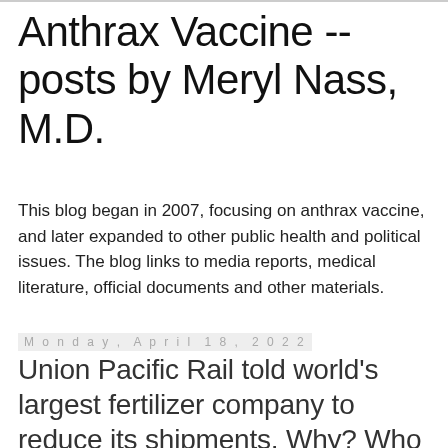Anthrax Vaccine -- posts by Meryl Nass, M.D.
This blog began in 2007, focusing on anthrax vaccine, and later expanded to other public health and political issues. The blog links to media reports, medical literature, official documents and other materials.
Monday, April 18, 2022
Union Pacific Rail told world's largest fertilizer company to reduce its shipments. Why? Who paid for this? Obvious attempt to reduce food production
https://www.cfindustries.com/newsroom/2022/union-pacific-shippers-restrictions